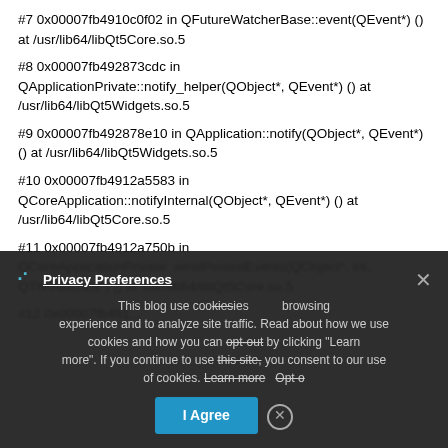#7 0x00007fb4910c0f02 in QFutureWatcherBase::event(QEvent*) () at /usr/lib64/libQt5Core.so.5
#8 0x00007fb492873cdc in QApplicationPrivate::notify_helper(QObject*, QEvent*) () at /usr/lib64/libQt5Widgets.so.5
#9 0x00007fb492878e10 in QApplication::notify(QObject*, QEvent*) () at /usr/lib64/libQt5Widgets.so.5
#10 0x00007fb4912a5583 in QCoreApplication::notifyInternal(QObject*, QEvent*) () at /usr/lib64/libQt5Core.so.5
#11 0x00007fb4912a750b in QCoreApplicationPrivate::sendPostedEvents(QObject*, int, QThreadData*) () at /usr/lib64/libQt5Core.so.5
Privacy Preferences
This blog use cookies to improve your browsing experience and to analyze site traffic. Read about how we use cookies and how you can opt-out by clicking "Learn more". If you continue to use this site, you consent to our use of cookies.
I Agree